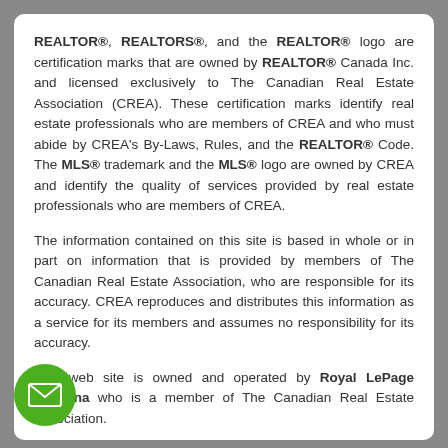REALTOR®, REALTORS®, and the REALTOR® logo are certification marks that are owned by REALTOR® Canada Inc. and licensed exclusively to The Canadian Real Estate Association (CREA). These certification marks identify real estate professionals who are members of CREA and who must abide by CREA's By-Laws, Rules, and the REALTOR® Code. The MLS® trademark and the MLS® logo are owned by CREA and identify the quality of services provided by real estate professionals who are members of CREA.
The information contained on this site is based in whole or in part on information that is provided by members of The Canadian Real Estate Association, who are responsible for its accuracy. CREA reproduces and distributes this information as a service for its members and assumes no responsibility for its accuracy.
This web site is owned and operated by Royal LePage Kelowna who is a member of The Canadian Real Estate Association.
The listing content on this website is protected by copyright and other laws, and is intended solely for the private, non-commercial use by individuals. Any other reproduction, distribution or use of the content, in whole or in part, is specifically forbidden. The prohibited uses include commercial use, “screen scraping”, “database scraping”, and any other intended to collect, store, reorganize or manipulate data on the produced by or displayed on this website.
[Figure (other): Green circular email/envelope icon button in bottom-left corner]